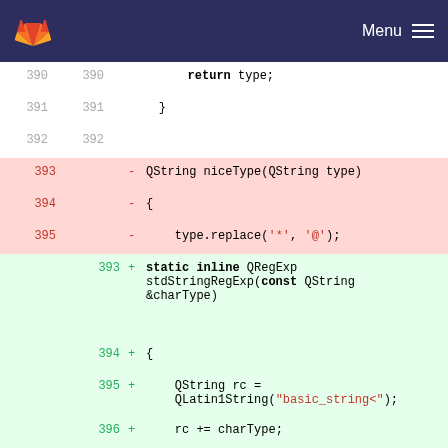GitLab — Menu
[Figure (screenshot): Code diff view showing lines 390-401 with deleted and added lines in a C++ file. Deleted lines show niceType function, added lines show static inline QRegExp stdStringRegExp function.]